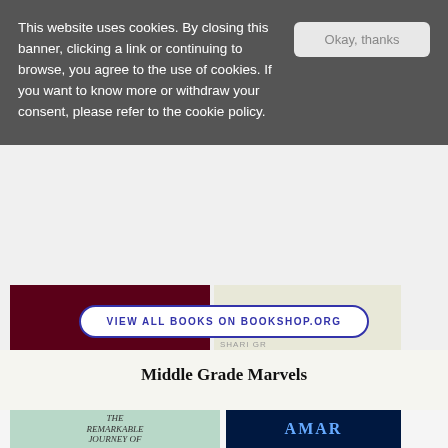This website uses cookies. By closing this banner, clicking a link or continuing to browse, you agree to the use of cookies. If you want to know more or withdraw your consent, please refer to the cookie policy.
[Figure (photo): Book cover showing 'WOODSON' in gold text on dark red background, partially visible]
[Figure (photo): Book cover showing 'SHARI GR' in orange text on cream background, partially visible, with small text above]
VIEW ALL BOOKS ON BOOKSHOP.ORG
Middle Grade Marvels
[Figure (photo): Book cover for 'The Remarkable Journey of...' with light teal/mint background, partially visible]
[Figure (photo): Dark blue book cover with 'AMAR' visible in large letters with quotes from Angie Thomas and Nic St...]